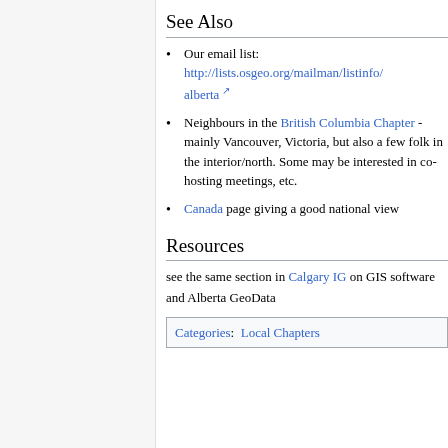See Also
Our email list: http://lists.osgeo.org/mailman/listinfo/alberta
Neighbours in the British Columbia Chapter - mainly Vancouver, Victoria, but also a few folk in the interior/north. Some may be interested in co-hosting meetings, etc.
Canada page giving a good national view
Resources
see the same section in Calgary IG on GIS software and Alberta GeoData
Categories: Local Chapters